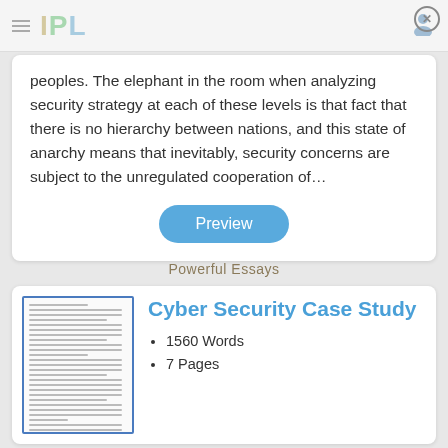IPL
peoples. The elephant in the room when analyzing security strategy at each of these levels is that fact that there is no hierarchy between nations, and this state of anarchy means that inevitably, security concerns are subject to the unregulated cooperation of…
Preview
Powerful Essays
Cyber Security Case Study
1560 Words
7 Pages